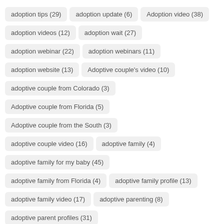adoption tips (29)
adoption update (6)
Adoption video (38)
adoption videos (12)
adoption wait (27)
adoption webinar (22)
adoption webinars (11)
adoption website (13)
Adoptive couple's video (10)
adoptive couple from Colorado (3)
Adoptive couple from Florida (5)
Adoptive couple from the South (3)
adoptive couple video (16)
adoptive family (4)
adoptive family for my baby (45)
adoptive family from Florida (4)
adoptive family profile (13)
adoptive family video (17)
adoptive parenting (8)
adoptive parent profiles (31)
adoptive parents for my baby (9)